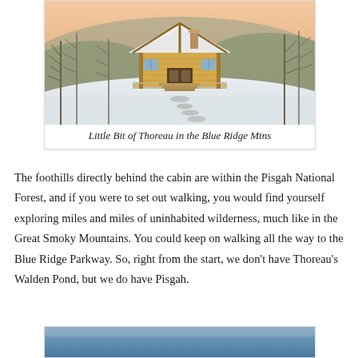[Figure (photo): A wooden cabin with a snow-covered roof and stepped stone path in the foreground, surrounded by bare winter trees on a hillside. Soft pink/orange sky at dusk or dawn.]
Little Bit of Thoreau in the Blue Ridge Mtns
The foothills directly behind the cabin are within the Pisgah National Forest, and if you were to set out walking, you would find yourself exploring miles and miles of uninhabited wilderness, much like in the Great Smoky Mountains. You could keep on walking all the way to the Blue Ridge Parkway. So, right from the start, we don’t have Thoreau’s Walden Pond, but we do have Pisgah.
[Figure (photo): Partial bottom strip showing the top of another photo, likely of a natural or outdoor scene.]